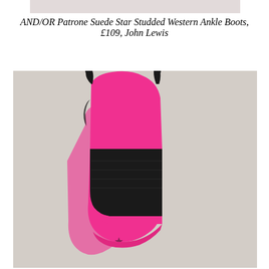[Figure (photo): Top portion of a product photo (cropped), light pinkish-grey background, partial view of ankle boots area]
AND/OR Patrone Suede Star Studded Western Ankle Boots, £109, John Lewis
[Figure (photo): Product photo of AND/OR Patrone Suede Star Studded Western Ankle Boots in bright pink with black elastic side panel and black pull tabs, photographed on a light grey background]